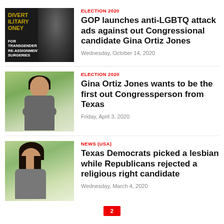[Figure (photo): Dark background image with text overlay 'DIVERT MILITARY MONEY FOR TRANSGENDER RE-ASSIGNMENT SURGERIES' and a person in the background]
ELECTION 2020
GOP launches anti-LGBTQ attack ads against out Congressional candidate Gina Ortiz Jones
Wednesday, October 14, 2020
[Figure (photo): Woman with dark hair wearing a grey jacket standing outdoors with arms crossed, green foliage background]
ELECTION 2020
Gina Ortiz Jones wants to be the first out Congressperson from Texas
Friday, April 3, 2020
[Figure (photo): Woman with long dark hair smiling, wearing a grey jacket, outdoors with green background]
NEWS (USA)
Texas Democrats picked a lesbian while Republicans rejected a religious right candidate
Wednesday, March 4, 2020